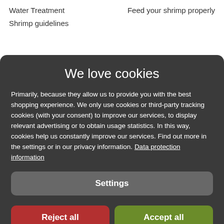Water Treatment
Feed your shrimp properly
Shrimp guidelines
We love cookies
Primarily, because they allow us to provide you with the best shopping experience. We only use cookies or third-party tracking cookies (with your consent) to improve our services, to display relevant advertising or to obtain usage statistics. In this way, cookies help us constantly improve our services. Find out more in the settings or in our privacy information. Data protection information
Settings
Reject all
Accept all